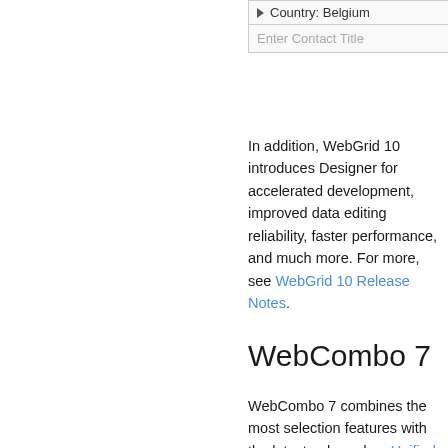[Figure (screenshot): UI element showing a dropdown row with arrow and 'Country: Belgium' label, and below it an input field with placeholder text 'Enter Contact Title']
In addition, WebGrid 10 introduces Designer for accelerated development, improved data editing reliability, faster performance, and much more. For more, see WebGrid 10 Release Notes.
WebCombo 7
WebCombo 7 combines the most selection features with the latest mobile based on Unified Theming framework, most versatile combobox component. The new WebCombo release contains a vast selection of combobox functionality other JS-based components, such as multi result, type ahead auto completion, positioning. This release also adds support modern browsers like Chrome, Sa